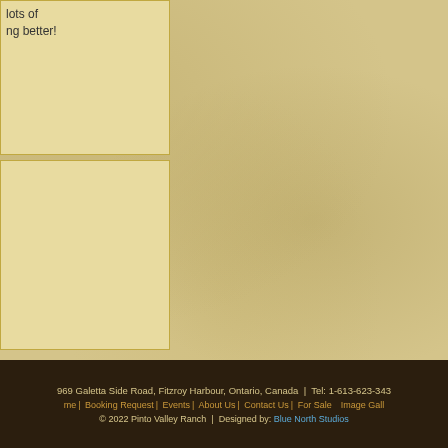lots of
ng better!
[Figure (illustration): Empty sidebar box with parchment/cream background]
[Figure (logo): Ottawa Valley tourism logo with sun and wavy lines. Text: Visitors and Ottawa Valley]
969 Galetta Side Road, Fitzroy Harbour, Ontario, Canada  Tel: 1-613-623-343
home  Booking Request  Events  About Us  Contact Us  For Sale  Image Gall
© 2022 Pinto Valley Ranch  |  Designed by: Blue North Studios